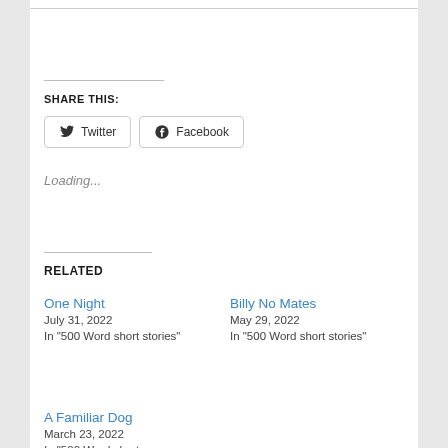SHARE THIS:
Twitter  Facebook
Loading...
RELATED
One Night
July 31, 2022
In "500 Word short stories"
Billy No Mates
May 29, 2022
In "500 Word short stories"
A Familiar Dog
March 23, 2022
In "500 Word short